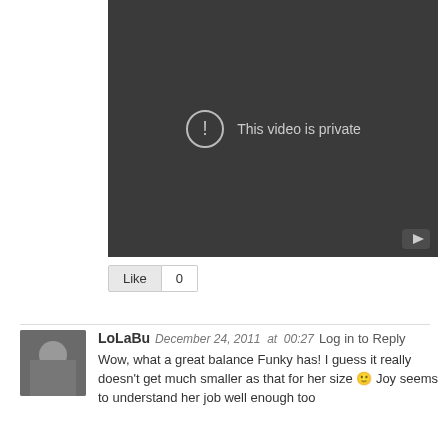[Figure (screenshot): Embedded video player showing 'This video is private' message on dark background with YouTube logo in bottom-right corner]
Like   0
LoLaBu December 24, 2011 at 00:27 Log in to Reply
Wow, what a great balance Funky has! I guess it really doesn't get much smaller as that for her size 🙂 Joy seems to understand her job well enough too